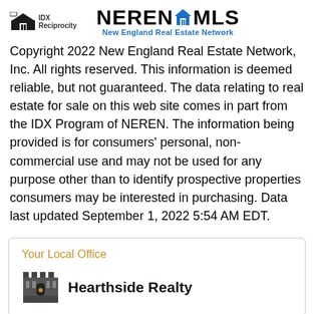[Figure (logo): IDX Reciprocity logo (small house icon with text) and NEREN MLS New England Real Estate Network logo]
Copyright 2022 New England Real Estate Network, Inc. All rights reserved. This information is deemed reliable, but not guaranteed. The data relating to real estate for sale on this web site comes in part from the IDX Program of NEREN. The information being provided is for consumers' personal, non-commercial use and may not be used for any purpose other than to identify prospective properties consumers may be interested in purchasing. Data last updated September 1, 2022 5:54 AM EDT.
Your Local Office
[Figure (logo): Hearthside Realty castle logo with text 'Hearthside Realty']